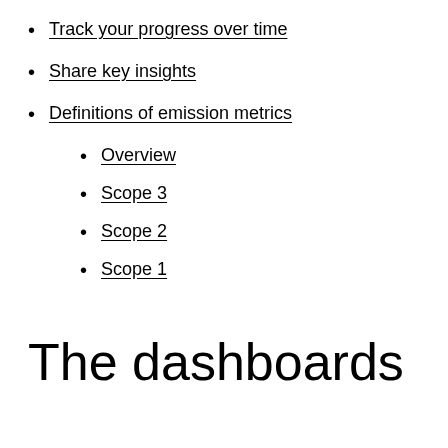Track your progress over time
Share key insights
Definitions of emission metrics
Overview
Scope 3
Scope 2
Scope 1
The dashboards